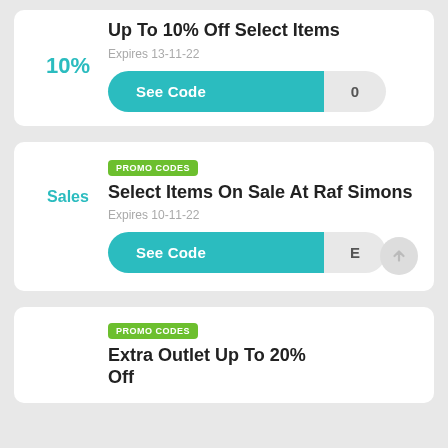Up To 10% Off Select Items
10%
Expires 13-11-22
See Code
PROMO CODES
Select Items On Sale At Raf Simons
Sales
Expires 10-11-22
See Code
PROMO CODES
Extra Outlet Up To 20% Off